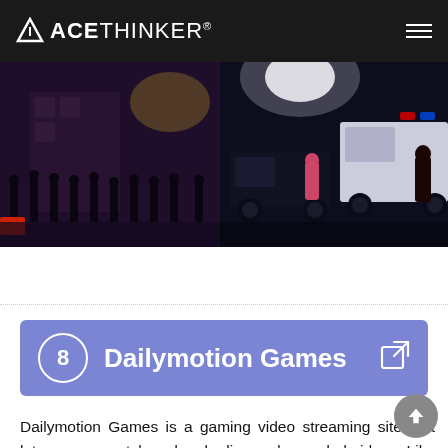ACETHINKER®
[Figure (photo): Two side-by-side nighttime outdoor scene photos showing crowds of people and vehicles with police lights on a street]
8 Dailymotion Games
Dailymotion Games is a gaming video streaming site that lets gamers watch and make live and recorded videos. Like Youtube Gaming, Dailymotion Gaming is a part of the website Dailymotion that contains many different conte... From toddlers' videos to adult content. Dailymotion gaming captures and finds game content from all over the world.